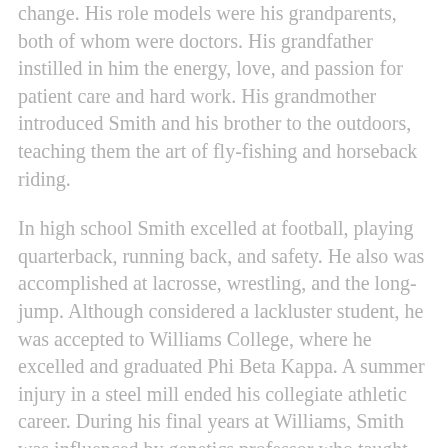change. His role models were his grandparents, both of whom were doctors. His grandfather instilled in him the energy, love, and passion for patient care and hard work. His grandmother introduced Smith and his brother to the outdoors, teaching them the art of fly-fishing and horseback riding.
In high school Smith excelled at football, playing quarterback, running back, and safety. He also was accomplished at lacrosse, wrestling, and the long-jump. Although considered a lackluster student, he was accepted to Williams College, where he excelled and graduated Phi Beta Kappa. A summer injury in a steel mill ended his collegiate athletic career. During his final years at Williams, Smith was influenced by genetics professor who taught him the value of basic science and solid